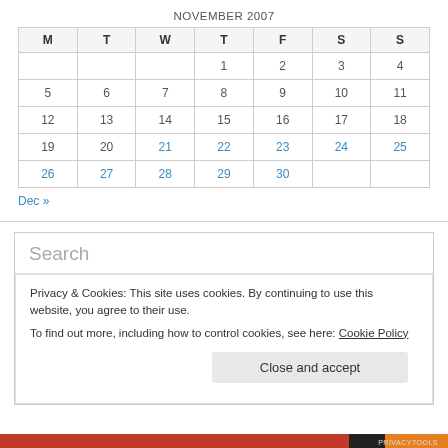| M | T | W | T | F | S | S |
| --- | --- | --- | --- | --- | --- | --- |
|  |  |  | 1 | 2 | 3 | 4 |
| 5 | 6 | 7 | 8 | 9 | 10 | 11 |
| 12 | 13 | 14 | 15 | 16 | 17 | 18 |
| 19 | 20 | 21 | 22 | 23 | 24 | 25 |
| 26 | 27 | 28 | 29 | 30 |  |  |
Dec »
Search
Privacy & Cookies: This site uses cookies. By continuing to use this website, you agree to their use.
To find out more, including how to control cookies, see here: Cookie Policy
Close and accept